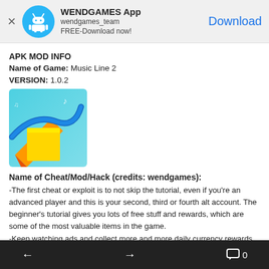[Figure (logo): WENDGAMES app banner with Android robot icon, app name, developer name, and Download button]
APK MOD INFO
Name of Game: Music Line 2
VERSION: 1.0.2
[Figure (illustration): Music Line 2 game screenshot/icon showing colorful 3D blocks and ramps in teal, orange and blue colors]
Name of Cheat/Mod/Hack (credits: wendgames):
-The first cheat or exploit is to not skip the tutorial, even if you're an advanced player and this is your second, third or fourth alt account. The beginner's tutorial gives you lots of free stuff and rewards, which are some of the most valuable items in the game.
-Keep watching ads and collect more and more daily currency rewards.
-Play daily events for more chance to get better currency.
← → 💬 0